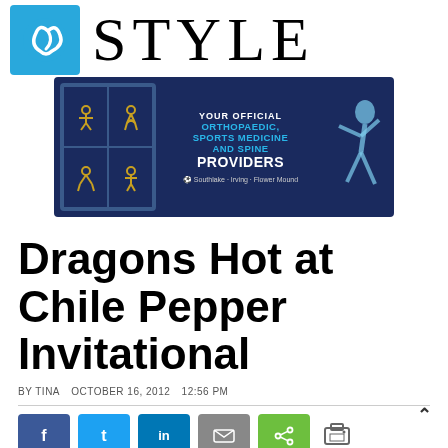STYLE
[Figure (illustration): Advertisement banner: YOUR OFFICIAL ORTHOPAEDIC, SPORTS MEDICINE AND SPINE PROVIDERS. Southlake · Irving · Flower Mound]
Dragons Hot at Chile Pepper Invitational
BY TINA   OCTOBER 16, 2012   12:56 PM
[Figure (infographic): Social share buttons: Facebook, Twitter, LinkedIn, Email, Share (green), Print icon. Scroll-up arrow icon top right.]